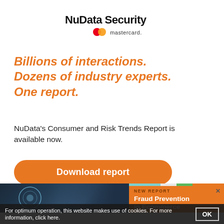[Figure (logo): NuData Security Mastercard logo — bold text 'NuData Security' above and Mastercard overlapping circles logo with 'mastercard' text below]
Billions of interactions. Dozens of industry experts. One report.
NuData's Consumer and Risk Trends Report is available now.
Download report
[Figure (photo): Advertisement banner: photo of woman touching digital security interface on left; orange panel on right with 'NEW REPORT' label and 'Fraud Prevention in Ecommerce 2021/2022' text; colorful top bar; X close button]
For optimum operation, this website makes use of cookies. For more information, click here.
OK